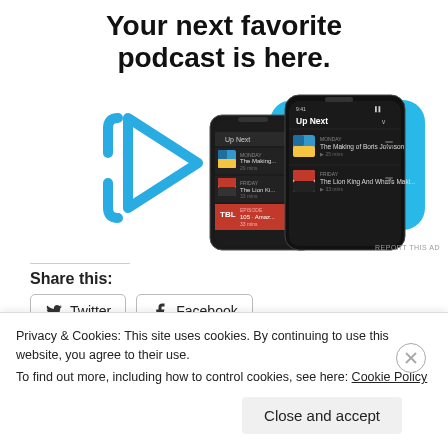Your next favorite podcast is here.
[Figure (screenshot): Advertisement showing two mobile phones with a podcast app open, displaying 'Up Next' queue with episodes including 'The Making of Boris Johnson' and 'The Lion King And What's Maki...'. Blue play button outline and cyan background shapes are visible around the phones.]
REPORT THIS AD
Share this:
Twitter  Facebook
Privacy & Cookies: This site uses cookies. By continuing to use this website, you agree to their use.
To find out more, including how to control cookies, see here: Cookie Policy
Close and accept